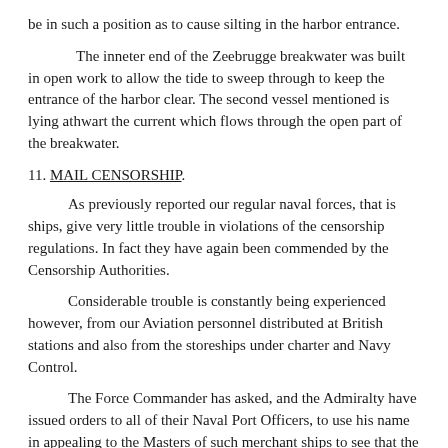be in such a position as to cause silting in the harbor entrance.
The inner end of the Zeebrugge breakwater was built in open work to allow the tide to sweep through to keep the entrance of the harbor clear. The second vessel mentioned is lying athwart the current which flows through the open part of the breakwater.
11. MAIL CENSORSHIP.
As previously reported our regular naval forces, that is ships, give very little trouble in violations of the censorship regulations. In fact they have again been commended by the Censorship Authorities.
Considerable trouble is constantly being experienced however, from our Aviation personnel distributed at British stations and also from the storeships under charter and Navy Control.
The Force Commander has asked, and the Admiralty have issued orders to all of their Naval Port Officers, to use his name in appealing to the Masters of such merchant ships to see that the censorship regulations are observed. It is hoped that the Department will take steps to have all of these Masters instructed and cautioned as to the importance of the censorship of mail while in foreign ports.